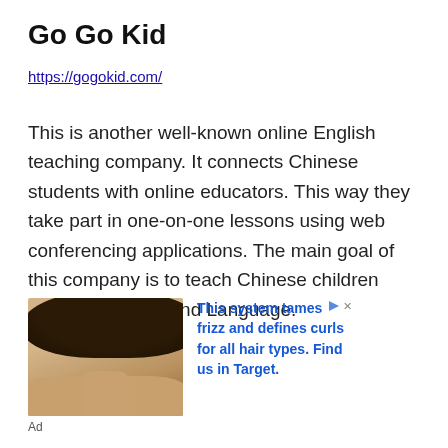Go Go Kid
https://gogokid.com/
This is another well-known online English teaching company. It connects Chinese students with online educators. This way they take part in one-on-one lessons using web conferencing applications. The main goal of this company is to teach Chinese children English as a Second Language.
[Figure (photo): Advertisement banner showing a woman with curly hair with text: This system tames frizz and defines curls for all hair types. Find us in Target.]